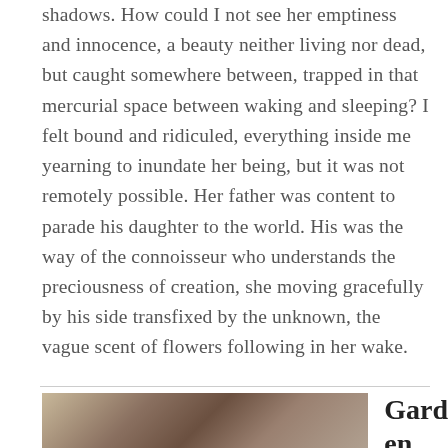shadows. How could I not see her emptiness and innocence, a beauty neither living nor dead, but caught somewhere between, trapped in that mercurial space between waking and sleeping? I felt bound and ridiculed, everything inside me yearning to inundate her being, but it was not remotely possible. Her father was content to parade his daughter to the world. His was the way of the connoisseur who understands the preciousness of creation, she moving gracefully by his side transfixed by the unknown, the vague scent of flowers following in her wake.
[Figure (photo): Photograph showing tree branches with tangled roots or brush, partially visible at bottom of page]
Garden